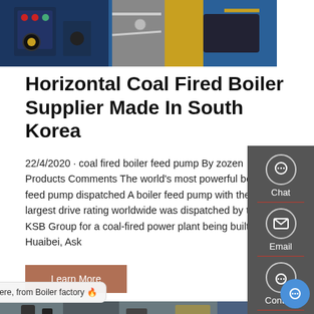[Figure (photo): Industrial boiler equipment photo showing blue machinery and yellow components in a factory setting]
Horizontal Coal Fired Boiler Supplier Made In South Korea
22/4/2020 · coal fired boiler feed pump By zozen Products Comments The world's most powerful boiler feed pump dispatched A boiler feed pump with the largest drive rating worldwide was dispatched by the KSB Group for a coal-fired power plant being built in Huaibei, Ask
Learn More
[Figure (photo): Industrial factory interior with large boiler equipment, steel structures and machinery]
Hello, Helen here, from Boiler factory 🔥